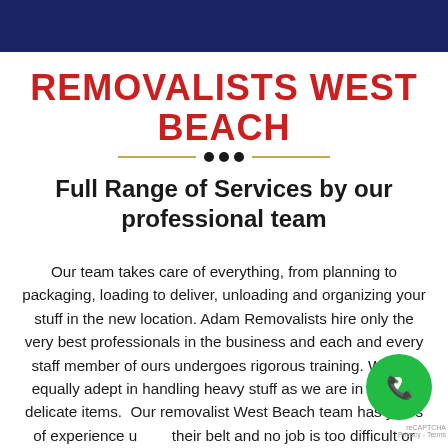REMOVALISTS WEST BEACH
Full Range of Services by our professional team
Our team takes care of everything, from planning to packaging, loading to deliver, unloading and organizing your stuff in the new location. Adam Removalists hire only the very best professionals in the business and each and every staff member of ours undergoes rigorous training. We are equally adept in handling heavy stuff as we are in moving delicate items.  Our removalist West Beach team has years of experience under their belt and no job is too difficult or complicated for us. Whether you are shifting houses or offices, we can make